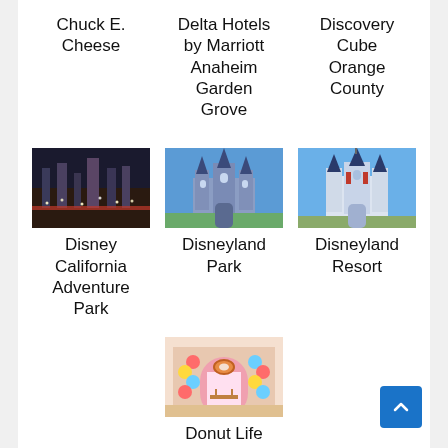Chuck E. Cheese
Delta Hotels by Marriott Anaheim Garden Grove
Discovery Cube Orange County
[Figure (photo): Nighttime outdoor scene, Disney California Adventure Park entrance area with lights]
Disney California Adventure Park
[Figure (photo): Disneyland Park castle daytime photo, blue sky]
Disneyland Park
[Figure (photo): Disneyland Resort castle with blue sky and decorations]
Disneyland Resort
[Figure (photo): Interior of Donut Life Museum with colorful decorations and archway]
Donut Life Museum